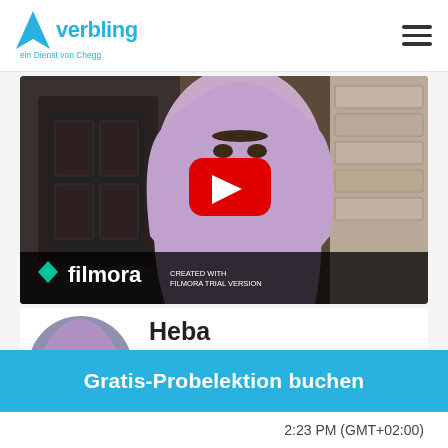[Figure (logo): Verbling logo — blue arrow/pin icon with 'verbling' wordmark and 'ein Dienst von Chegg' tagline]
[Figure (screenshot): Video thumbnail showing a woman in purple hijab with Filmora watermark bar at bottom and red YouTube-style play button in center]
[Figure (photo): Circular profile photo of Heba Moumtaz]
Heba Moumtaz
Gratis-Probelektion buchen
2:23 PM (GMT+02:00)